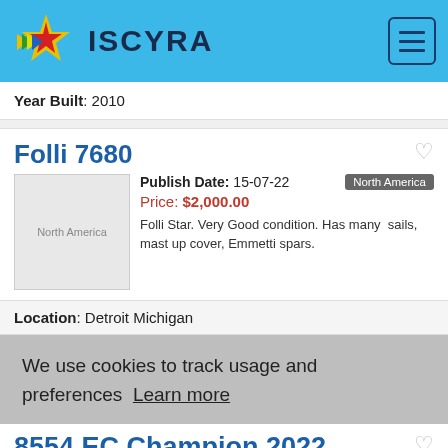ISCYRA
Year Built: 2010
Folli 7680
Publish Date: 15-07-22  Price: $2,000.00  North America  Folli Star. Very Good condition. Has many sails, mast up cover, Emmetti spars.
Location: Detroit Michigan
We use cookies to track usage and preferences  Learn more
8554 EC Champion 2022
Publish Date: 15-07-22  Price: $750,000.00  North America